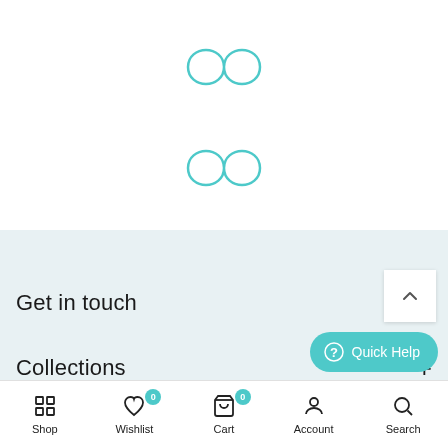[Figure (illustration): Teal infinity symbol (loading spinner) at top center of white area]
[Figure (illustration): Second teal infinity symbol (loading spinner) in middle of white area]
Get in touch
Collections
Shop  Wishlist 0  Cart 0  Account  Search  Quick Help